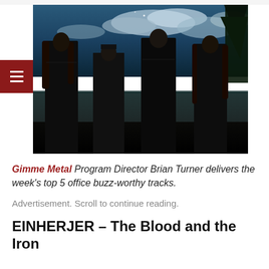[Figure (photo): Four members of the metal band Einherjer standing outdoors in front of a lake with dramatic cloudy sky. All wearing dark/black clothing and leather jackets. A red hamburger menu icon is overlaid on the left side of the image.]
Gimme Metal Program Director Brian Turner delivers the week's top 5 office buzz-worthy tracks.
Advertisement. Scroll to continue reading.
EINHERJER – The Blood and the Iron